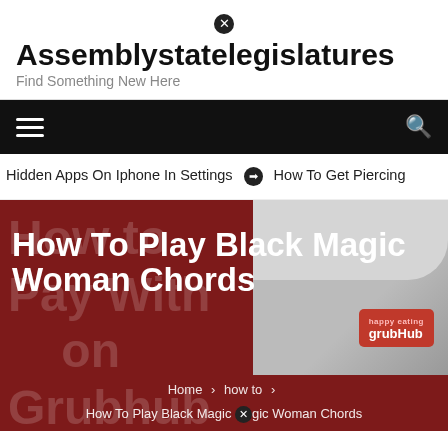Assemblystatelegislatures — Find Something New Here
[Figure (screenshot): Website navigation bar with hamburger menu icon on left and search icon on right, black background]
Hidden Apps On Iphone In Settings  ❯  How To Get Piercing
[Figure (photo): Hero section with dark red background showing 'How To Play Black Magic Woman Chords' title overlay on an image of a person holding a Grubhub branded shirt]
How To Play Black Magic Woman Chords
Home > how to > How To Play Black Magic Woman Chords